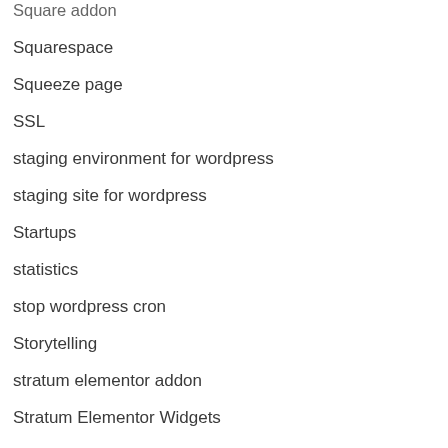Square addon
Squarespace
Squeeze page
SSL
staging environment for wordpress
staging site for wordpress
Startups
statistics
stop wordpress cron
Storytelling
stratum elementor addon
Stratum Elementor Widgets
stripe